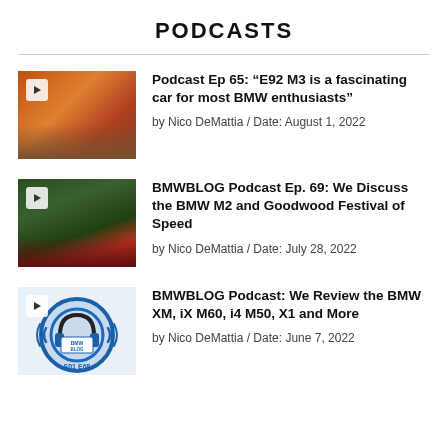PODCASTS
[Figure (photo): Thumbnail of orange BMW E92 M3 on a track with play button overlay]
Podcast Ep 65: “E92 M3 is a fascinating car for most BMW enthusiasts”
by Nico DeMattia / Date: August 1, 2022
[Figure (photo): Thumbnail of BMW M2 prototype in camouflage livery on a racing circuit with play button overlay]
BMWBLOG Podcast Ep. 69: We Discuss the BMW M2 and Goodwood Festival of Speed
by Nico DeMattia / Date: July 28, 2022
[Figure (logo): BMWBLOG podcast logo with headphones and text S01 E68, blue circular design]
BMWBLOG Podcast: We Review the BMW XM, iX M60, i4 M50, X1 and More
by Nico DeMattia / Date: June 7, 2022